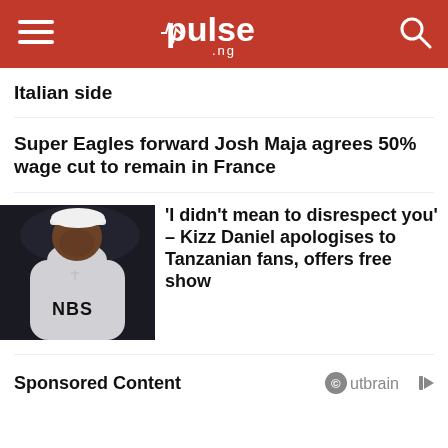pulse.ng
Italian side
Super Eagles forward Josh Maja agrees 50% wage cut to remain in France
[Figure (photo): Photo of Kizz Daniel wearing a white cap and white hoodie with 'NBS' text]
'I didn't mean to disrespect you' – Kizz Daniel apologises to Tanzanian fans, offers free show
Sponsored Content
Outbrain